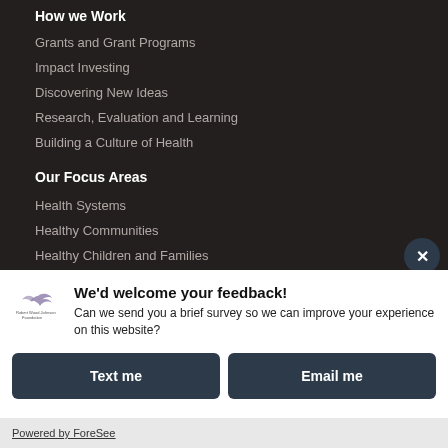How we Work
Grants and Grant Programs
Impact Investing
Discovering New Ideas
Research, Evaluation and Learning
Building a Culture of Health
Our Focus Areas
Health Systems
Healthy Communities
Healthy Children and Families
Leadership for Better Health
We'd welcome your feedback!
Can we send you a brief survey so we can improve your experience on this website?
Text me
Email me
Powered by ForeSee